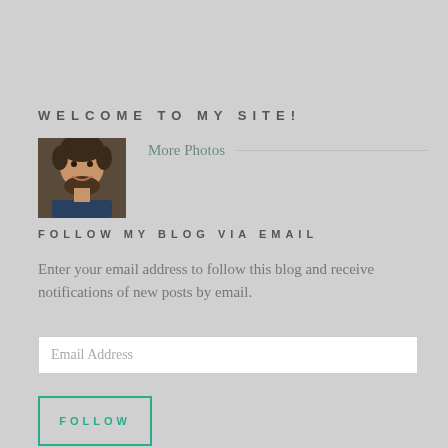WELCOME TO MY SITE!
[Figure (photo): Portrait photo of a smiling man with a beard wearing a dark blue shirt]
More Photos
FOLLOW MY BLOG VIA EMAIL
Enter your email address to follow this blog and receive notifications of new posts by email.
Email Address
FOLLOW